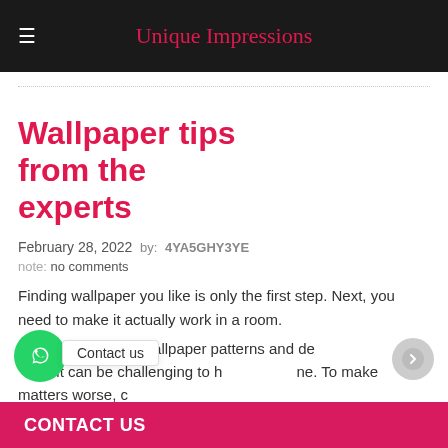Unique Impressions
Wallpaper tips from the experts
February 28, 2022 by: 4YA5GHY3YE
note: no comments
Finding wallpaper you like is only the first step. Next, you need to make it actually work in a room.
With thousands of wallpaper patterns and designs to choose from, it can be challenging to hone in on one. To make matters worse, c…